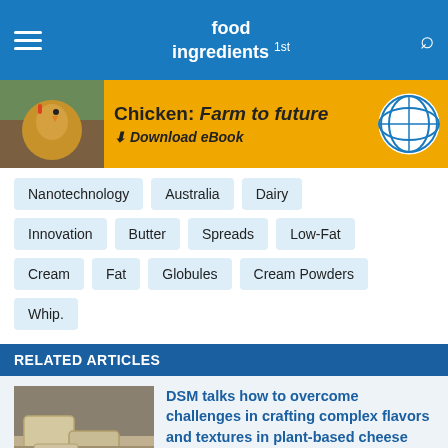food ingredients 1st
[Figure (infographic): Banner advertisement: Chicken: Farm to future - Download eBook, with a chicken photo on the left and a globe icon on the right on a gold/yellow background]
Nanotechnology
Australia
Dairy
Innovation
Butter
Spreads
Low-Fat
Cream
Fat
Globules
Cream Powders
Whip.
RELATED ARTICLES
[Figure (photo): Photo of stacked cheese wheels on stone surface]
DSM talks how to overcome challenges in crafting complex flavors and textures in plant-based cheese